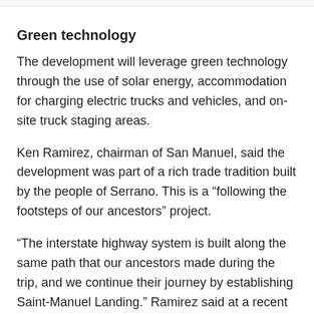Green technology
The development will leverage green technology through the use of solar energy, accommodation for charging electric trucks and vehicles, and on-site truck staging areas.
Ken Ramirez, chairman of San Manuel, said the development was part of a rich trade tradition built by the people of Serrano. This is a “following the footsteps of our ancestors” project.
“The interstate highway system is built along the same path that our ancestors made during the trip, and we continue their journey by establishing Saint-Manuel Landing.” Ramirez said at a recent groundbreaking ceremony.